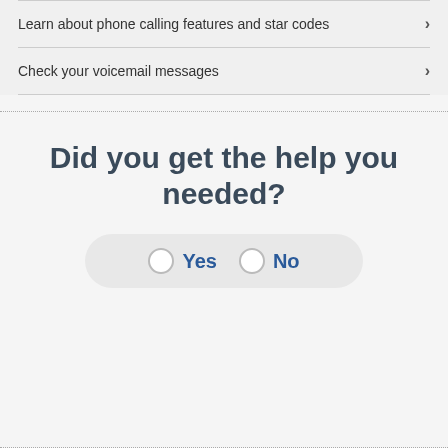Learn about phone calling features and star codes
Check your voicemail messages
Did you get the help you needed?
Yes / No (radio button survey options)